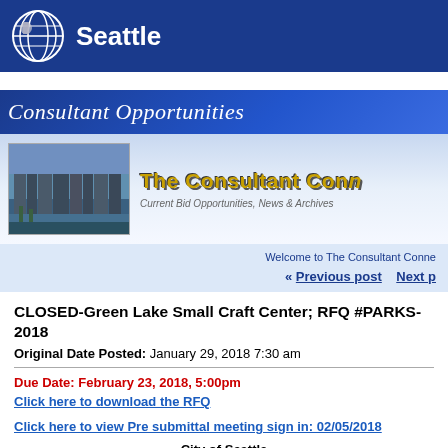Seattle
Consultant Opportunities
[Figure (screenshot): Banner image showing Seattle skyline photo on the left and 'The Consultant Conn...' title text with subtitle 'Current Bid Opportunities, News & Archives' on a light blue background]
Welcome to The Consultant Conne
« Previous post   Next p
CLOSED-Green Lake Small Craft Center; RFQ #PARKS-2018
Original Date Posted: January 29, 2018 7:30 am
Due Date: February 23, 2018, 5:00pm
Click here to download the RFQ
Click here to view Pre submittal meeting sign in: 02/05/2018
City of Seattle